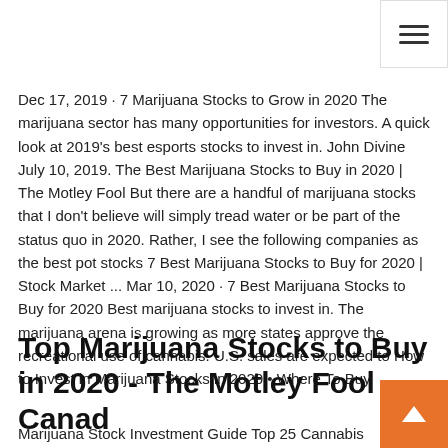[Figure (other): Hamburger menu icon button (three horizontal lines) in the top-right corner]
Dec 17, 2019 · 7 Marijuana Stocks to Grow in 2020 The marijuana sector has many opportunities for investors. A quick look at 2019's best esports stocks to invest in. John Divine July 10, 2019. The Best Marijuana Stocks to Buy in 2020 | The Motley Fool But there are a handful of marijuana stocks that I don't believe will simply tread water or be part of the status quo in 2020. Rather, I see the following companies as the best pot stocks 7 Best Marijuana Stocks to Buy for 2020 | Stock Market ... Mar 10, 2020 · 7 Best Marijuana Stocks to Buy for 2020 Best marijuana stocks to invest in. The marijuana arena is growing as more states approve the recreational use of cannabis. U.S. sales are expected to How to Invest in Marijuana Stocks in 2020 • Where To Buy
Top Marijuana Stocks to Buy in 2020 - The Motley Fool Canada
Marijuana Stock Investment Guide Top 25 Cannabis Stocks...